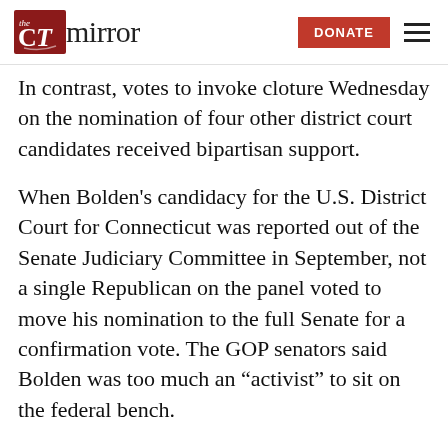the CT mirror | DONATE
In contrast, votes to invoke cloture Wednesday on the nomination of four other district court candidates received bipartisan support.
When Bolden’s candidacy for the U.S. District Court for Connecticut was reported out of the Senate Judiciary Committee in September, not a single Republican on the panel voted to move his nomination to the full Senate for a confirmation vote. The GOP senators said Bolden was too much an “activist” to sit on the federal bench.